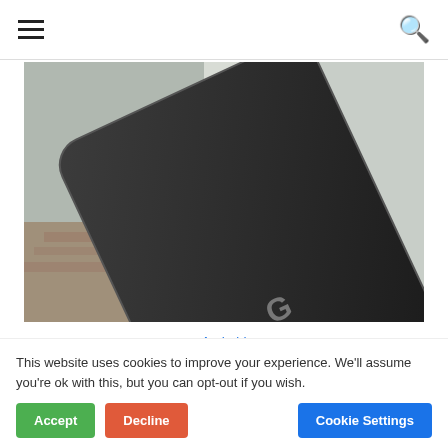≡  🔍
[Figure (photo): Close-up of back of a black Google Pixel smartphone showing the Google 'G' logo on a dark glossy surface with blurred background]
Android
This website uses cookies to improve your experience. We'll assume you're ok with this, but you can opt-out if you wish.
Accept  Decline  Cookie Settings